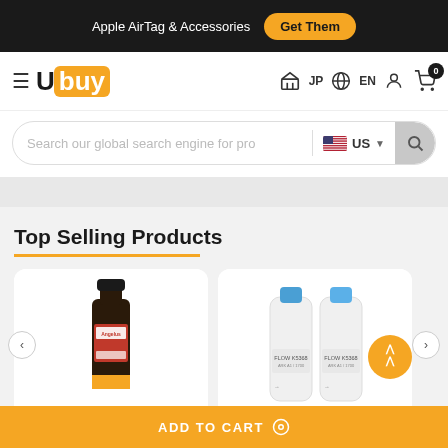Apple AirTag & Accessories  Get Them
Ubuy  JP  EN  0
Search our global search engine for pro  US
Top Selling Products
[Figure (photo): Product card showing a dark bottle of Angelus paint product with yellow/orange bottom]
[Figure (photo): Product card showing two white cylindrical water filter cartridges with blue caps labeled FLOW K5368]
ADD TO CART